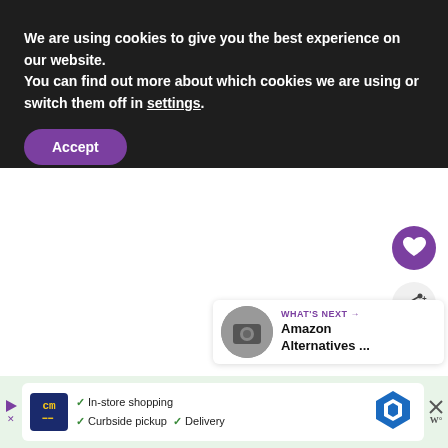We are using cookies to give you the best experience on our website.
You can find out more about which cookies we are using or switch them off in settings.
Accept
WHAT'S NEXT → Amazon Alternatives ...
In-store shopping  Curbside pickup  Delivery